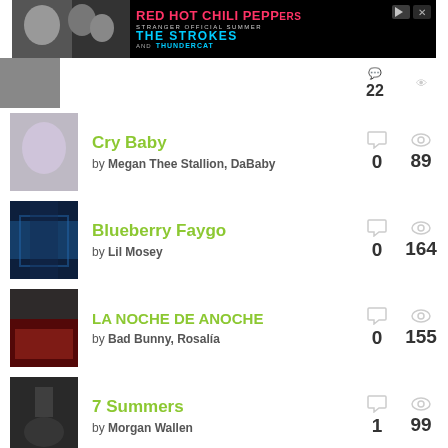[Figure (photo): Advertisement banner for Red Hot Chili Peppers concert with The Strokes and Thundercat]
Cry Baby by Megan Thee Stallion, DaBaby — 0 comments, 89 views
Blueberry Faygo by Lil Mosey — 0 comments, 164 views
LA NOCHE DE ANOCHE by Bad Bunny, Rosalía — 0 comments, 155 views
7 Summers by Morgan Wallen — 1 comment, 99 views
MORE TRACK RANKINGS
Post a Meaning